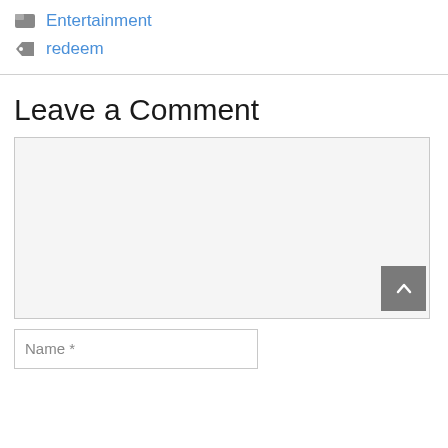Entertainment
redeem
Leave a Comment
[Figure (screenshot): Comment text area input box, large gray background, with a scroll-to-top button (chevron up) in bottom right corner]
Name *